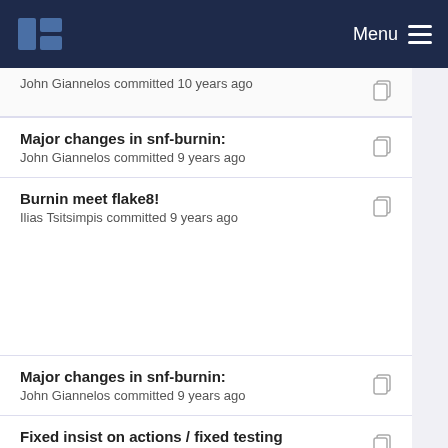Menu
John Giannelos committed 10 years ago
Major changes in snf-burnin:
John Giannelos committed 9 years ago
Burnin meet flake8!
Ilias Tsitsimpis committed 9 years ago
Major changes in snf-burnin:
John Giannelos committed 9 years ago
Fixed insist on actions / fixed testing conditions
John Giannelos committed 10 years ago
Various fixes
John Giannelos committed 10 years ago
Fixed insist on actions / fixed testing conditions